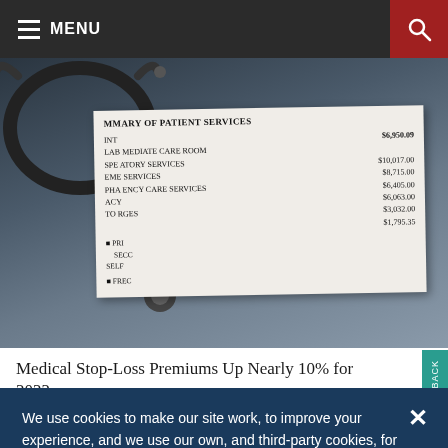MENU
[Figure (photo): Medical bill with stethoscope on top, showing a Summary of Patient Services with various charges including Immediate Care Room $10,017.00, Laboratory Services $8,715.00, Specialty Services $6,405.00, Emergency Care Services $6,063.00, Pharmacy $3,032.00, $1,795.35, total charges, and a figure of $6,950.09]
Medical Stop-Loss Premiums Up Nearly 10% for 2022
We use cookies to make our site work, to improve your experience, and we use our own, and third-party cookies, for advertising. Please see our Cookie Policy for more information and how to disable them. By clicking accept, or closing the message and continuing to use this site, you agree to our use of cookies.
ACCEPT